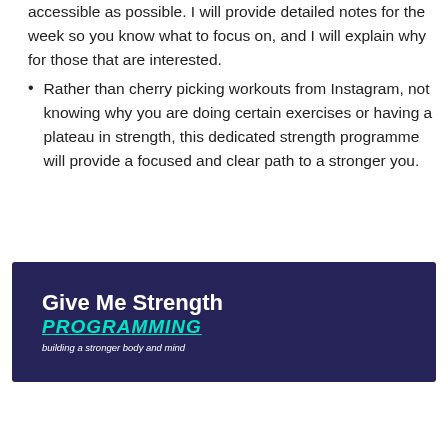accessible as possible. I will provide detailed notes for the week so you know what to focus on, and I will explain why for those that are interested.
Rather than cherry picking workouts from Instagram, not knowing why you are doing certain exercises or having a plateau in strength, this dedicated strength programme will provide a focused and clear path to a stronger you.
[Figure (logo): Give Me Strength Programming logo on dark navy background with tagline 'building a stronger body and mind']